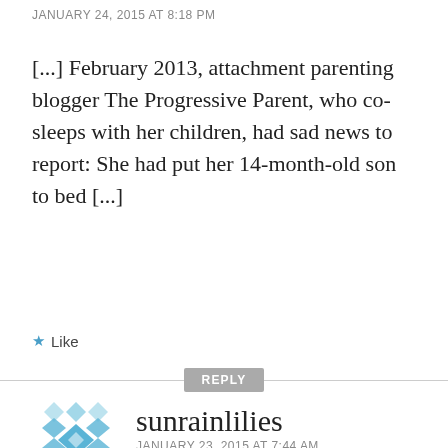JANUARY 24, 2015 AT 8:18 PM
[...] February 2013, attachment parenting blogger The Progressive Parent, who co-sleeps with her children, had sad news to report: She had put her 14-month-old son to bed [...]
★ Like
REPLY
sunrainlilies
JANUARY 23, 2015 AT 7:44 AM